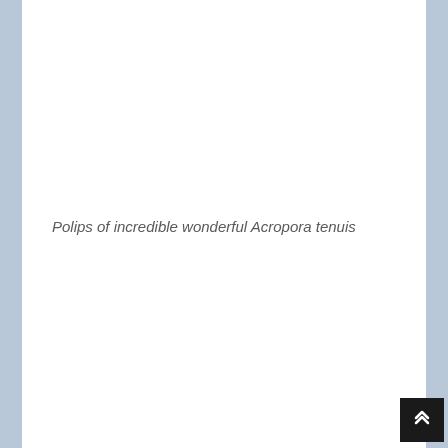Polips of incredible wonderful Acropora tenuis